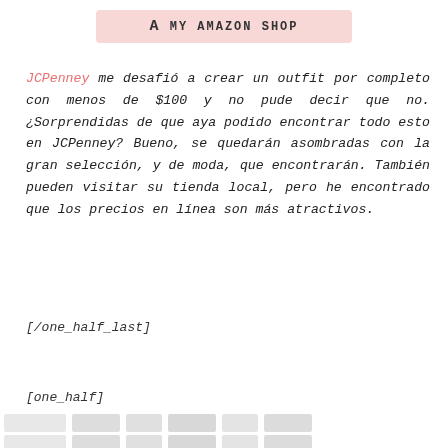[Figure (logo): Amazon shop banner/button with 'a MY AMAZON SHOP' text on pink background]
JCPenney me desafió a crear un outfit por completo con menos de $100 y no pude decir que no. ¿Sorprendidas de que aya podido encontrar todo esto en JCPenney? Bueno, se quedarán asombradas con la gran selección, y de moda, que encontrarán. También pueden visitar su tienda local, pero he encontrado que los precios en línea son más atractivos.
[/one_half_last]
[one_half]
[Figure (photo): Partial view of product images at bottom of page, mostly cut off]